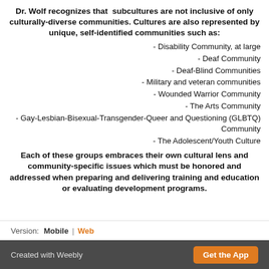Dr. Wolf recognizes that subcultures are not inclusive of only culturally-diverse communities. Cultures are also represented by unique, self-identified communities such as:
- Disability Community, at large
- Deaf Community
- Deaf-Blind Communities
- Military and veteran communities
- Wounded Warrior Community
- The Arts Community
- Gay-Lesbian-Bisexual-Transgender-Queer and Questioning (GLBTQ) Community
- The Adolescent/Youth Culture
Each of these groups embraces their own cultural lens and community-specific issues which must be honored and addressed when preparing and delivering training and education or evaluating development programs.
Version: Mobile | Web
Created with Weebly  Get the App